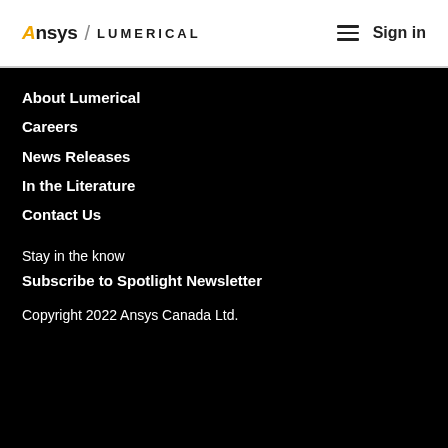[Figure (logo): Ansys Lumerical logo with yellow A, slash divider, and LUMERICAL text in uppercase]
Sign in
About Lumerical
Careers
News Releases
In the Literature
Contact Us
Stay in the know
Subscribe to Spotlight Newsletter
Copyright 2022 Ansys Canada Ltd.